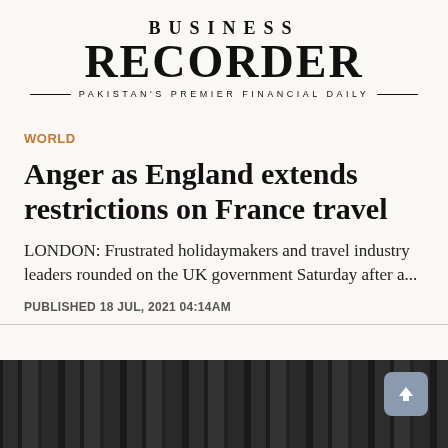BUSINESS RECORDER — PAKISTAN'S PREMIER FINANCIAL DAILY
WORLD
Anger as England extends restrictions on France travel
LONDON: Frustrated holidaymakers and travel industry leaders rounded on the UK government Saturday after a...
PUBLISHED 18 JUL, 2021 04:14AM
[Figure (photo): Dark interior photograph showing what appears to be a financial trading floor or bookshelf interior]